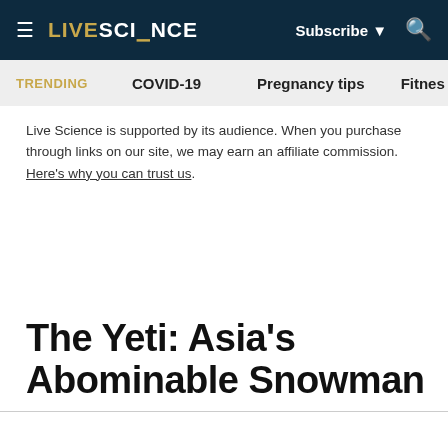LIVE SCIENCE — Subscribe ▼ 🔍
TRENDING  COVID-19  Pregnancy tips  Fitnes
Live Science is supported by its audience. When you purchase through links on our site, we may earn an affiliate commission. Here's why you can trust us.
The Yeti: Asia's Abominable Snowman